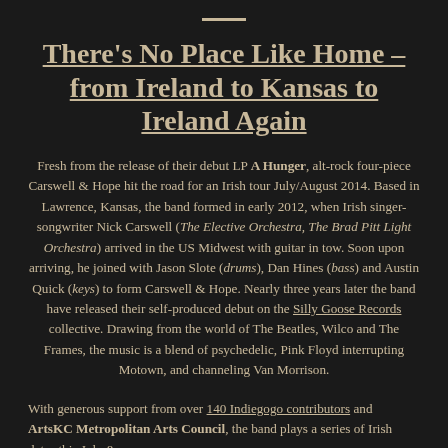There's No Place Like Home – from Ireland to Kansas to Ireland Again
Fresh from the release of their debut LP A Hunger, alt-rock four-piece Carswell & Hope hit the road for an Irish tour July/August 2014. Based in Lawrence, Kansas, the band formed in early 2012, when Irish singer-songwriter Nick Carswell (The Elective Orchestra, The Brad Pitt Light Orchestra) arrived in the US Midwest with guitar in tow. Soon upon arriving, he joined with Jason Slote (drums), Dan Hines (bass) and Austin Quick (keys) to form Carswell & Hope. Nearly three years later the band have released their self-produced debut on the Silly Goose Records collective. Drawing from the world of The Beatles, Wilco and The Frames, the music is a blend of psychedelic, Pink Floyd interrupting Motown, and channeling Van Morrison.
With generous support from over 140 Indiegogo contributors and ArtsKC Metropolitan Arts Council, the band plays a series of Irish dates this July &